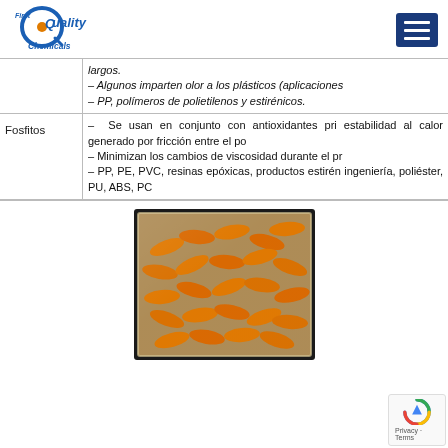First Quality Chemicals
|  |  |
| --- | --- |
|  | largos.
– Algunos imparten olor a los plásticos (aplicaciones…
– PP, polímeros de polietilenos y estirénicos. |
| Fosfitos | – Se usan en conjunto con antioxidantes pri… estabilidad al calor generado por fricción entre el po…
– Minimizan los cambios de viscosidad durante el pr…
– PP, PE, PVC, resinas epóxicas, productos estirén… ingeniería, poliéster, PU, ABS, PC |
[Figure (photo): Photo of orange plastic pellets or carrot-shaped polymer pieces in a clear plastic tray/container, viewed from above.]